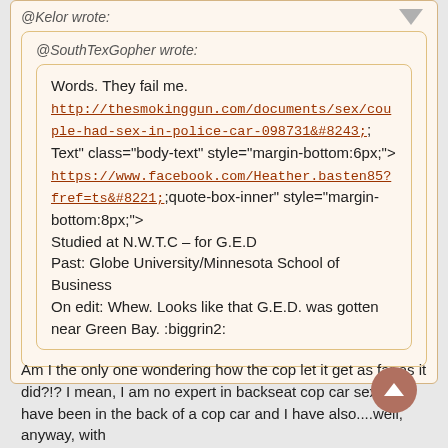@Kelor wrote:
@SouthTexGopher wrote:
Words. They fail me.
http://thesmokinggun.com/documents/sex/couple-had-sex-in-police-car-098731&#8243;; onclick="window.open(this.href);return false;
https://www.facebook.com/Heather.basten85?fref=ts&#8221;; onclick="window.open(this.href);return false;
Uh oh. We have to partially claim her as a Minnesotan. :ahhh: :mrgreen:
Studied at N.W.T.C – for G.E.D
Past: Globe University/Minnesota School of Business
On edit: Whew. Looks like that G.E.D. was gotten near Green Bay. :biggrin2:
Am I the only one wondering how the cop let it get as far as it did?!? I mean, I am no expert in backseat cop car sex, but I have been in the back of a cop car and I have also....well, anyway, with